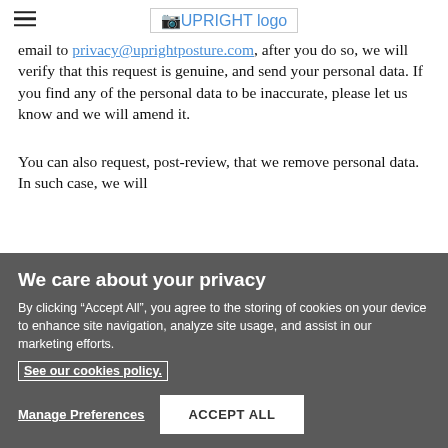UPRIGHT logo
email to privacy@uprightposture.com, after you do so, we will verify that this request is genuine, and send your personal data. If you find any of the personal data to be inaccurate, please let us know and we will amend it.
You can also request, post-review, that we remove personal data. In such case, we will
We care about your privacy
By clicking “Accept All”, you agree to the storing of cookies on your device to enhance site navigation, analyze site usage, and assist in our marketing efforts.
See our cookies policy.
Manage Preferences
ACCEPT ALL